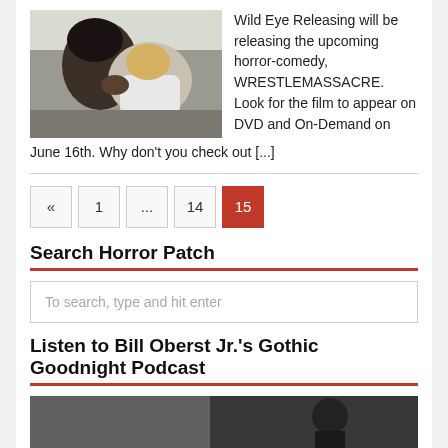[Figure (photo): Two people wrestling or grappling outdoors, one with long dark hair]
Wild Eye Releasing will be releasing the upcoming horror-comedy, WRESTLEMASSACRE. Look for the film to appear on DVD and On-Demand on June 16th. Why don't you check out [...]
« 1 ... 14 15
Search Horror Patch
To search, type and hit enter
Listen to Bill Oberst Jr.'s Gothic Goodnight Podcast
[Figure (photo): Partial image at bottom of page, dark tones]